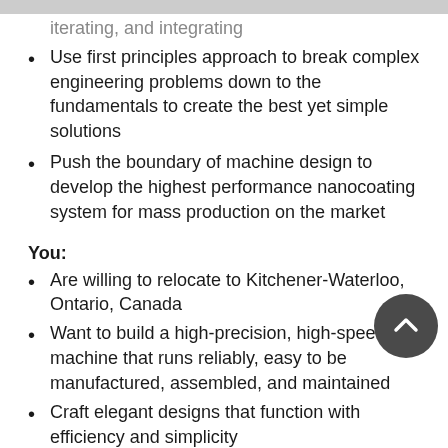iterating, and integrating (partial, top of page)
Use first principles approach to break complex engineering problems down to the fundamentals to create the best yet simple solutions
Push the boundary of machine design to develop the highest performance nanocoating system for mass production on the market
You:
Are willing to relocate to Kitchener-Waterloo, Ontario, Canada
Want to build a high-precision, high-speed machine that runs reliably, easy to be manufactured, assembled, and maintained
Craft elegant designs that function with efficiency and simplicity
Are comfortable with hacking and prototyping with limited resources to produce creative and
innovative solutions
Use 3D CAD to design components, produce drawings, and build assemblies
Are familiar with a variety of